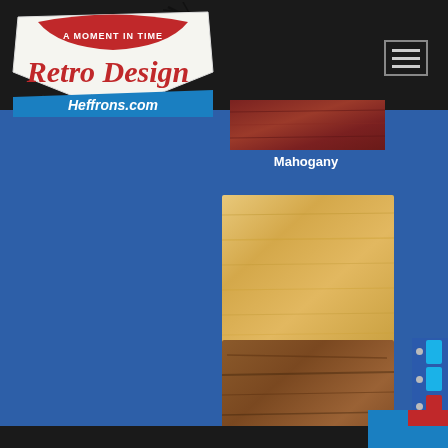[Figure (logo): Retro Design Heffrons.com logo — a retro-styled sign with red, white and blue colors, text 'A MOMENT IN TIME' and 'Retro Design' in script with 'Heffrons.com' on a blue banner, with a starburst accent]
[Figure (other): Wood finish swatch for Mahogany — partial dark reddish-brown wood grain square, partially cropped at top]
Mahogany
[Figure (other): Wood finish swatch for Natural — light golden/honey colored wood grain square]
Natural
[Figure (other): Wood finish swatch for Walnut — medium brown wood grain square]
Walnut